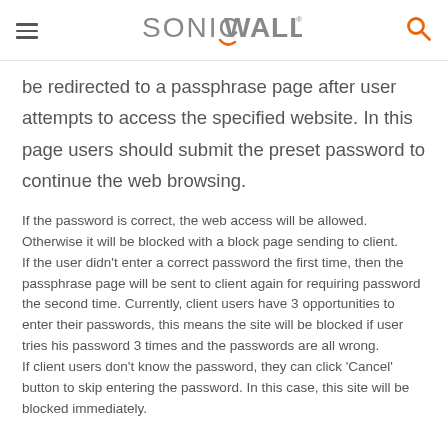SONICWALL
be redirected to a passphrase page after user attempts to access the specified website. In this page users should submit the preset password to continue the web browsing.
If the password is correct, the web access will be allowed. Otherwise it will be blocked with a block page sending to client.
If the user didn't enter a correct password the first time, then the passphrase page will be sent to client again for requiring password the second time. Currently, client users have 3 opportunities to enter their passwords, this means the site will be blocked if user tries his password 3 times and the passwords are all wrong.
If client users don't know the password, they can click 'Cancel' button to skip entering the password. In this case, this site will be blocked immediately.